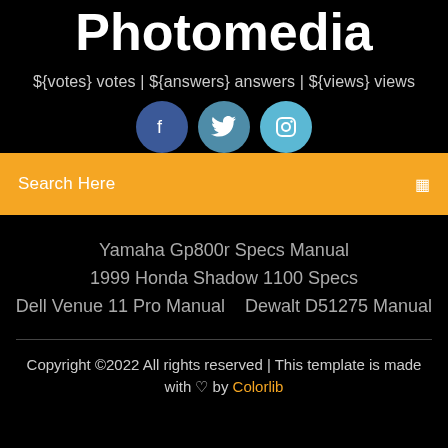Photomedia
${votes} votes | ${answers} answers | ${views} views
[Figure (illustration): Three social media icon circles: Facebook (dark blue), Twitter (medium blue), Instagram (light blue)]
Search Here
Yamaha Gp800r Specs Manual
1999 Honda Shadow 1100 Specs
Dell Venue 11 Pro Manual    Dewalt D51275 Manual
Copyright ©2022 All rights reserved | This template is made with ♡ by Colorlib